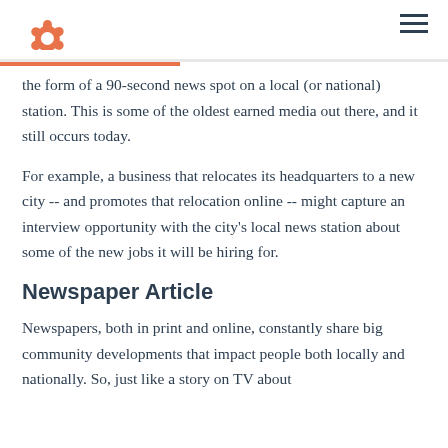HubSpot logo and navigation
the form of a 90-second news spot on a local (or national) station. This is some of the oldest earned media out there, and it still occurs today.
For example, a business that relocates its headquarters to a new city -- and promotes that relocation online -- might capture an interview opportunity with the city's local news station about some of the new jobs it will be hiring for.
Newspaper Article
Newspapers, both in print and online, constantly share big community developments that impact people both locally and nationally. So, just like a story on TV about